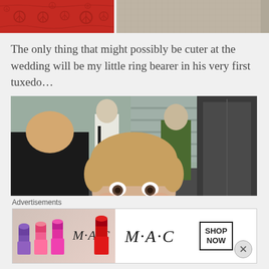[Figure (photo): Two cropped photos at the top: left shows red bandana fabric with peace signs, right shows a beige/tan fabric or surface]
The only thing that might possibly be cuter at the wedding will be my little ring bearer in his very first tuxedo…
[Figure (photo): A young boy smiling in a tuxedo with a dark jacket and red tie, surrounded by hanging clothes in what appears to be a clothing store]
Advertisements
[Figure (photo): MAC cosmetics advertisement banner showing colorful lipsticks on the left, MAC logo in the center, and a SHOP NOW button on the right with a red lipstick on the far right]